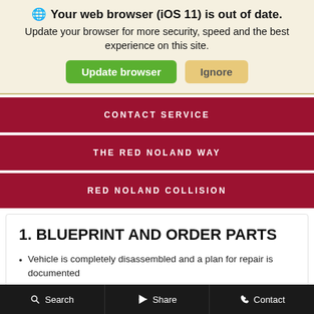🌐 Your web browser (iOS 11) is out of date. Update your browser for more security, speed and the best experience on this site.
Update browser | Ignore
CONTACT SERVICE
THE RED NOLAND WAY
RED NOLAND COLLISION
1. BLUEPRINT AND ORDER PARTS
Vehicle is completely disassembled and a plan for repair is documented
Estimate is approved by customer and insurance
Search  Share  Contact